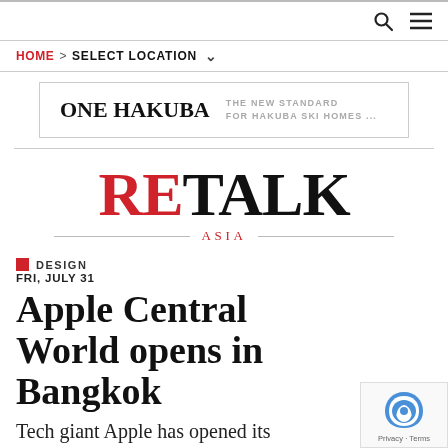HOME > SELECT LOCATION
[Figure (logo): One Hakuba advertisement banner: ONE HAKUBA - THE NEW STANDARD FOR HAKUBA SKI HOMES ...]
[Figure (logo): RETALK ASIA logo in large serif font with RE in red and TALK in black, ASIA centered below with horizontal rules]
DESIGN
FRI, JULY 31
Apple Central World opens in Bangkok
Tech giant Apple has opened its